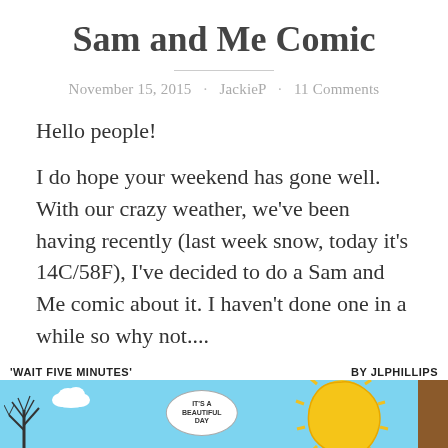Sam and Me Comic
November 15, 2015 · JackieP · 11 Comments
Hello people!
I do hope your weekend has gone well. With our crazy weather, we've been having recently (last week snow, today it's 14C/58F), I've decided to do a Sam and Me comic about it. I haven't done one in a while so why not....
[Figure (illustration): Partial view of a comic strip titled 'WAIT FIVE MINUTES' by JLPHILLIPS. Shows a blue sky background with a bare tree on the left, a white cloud, a large yellow sun with spiky rays on the right, and a speech bubble in the center saying 'IT'S A BEAUTIFUL DAY'. A brown panel is visible on the far right edge.]